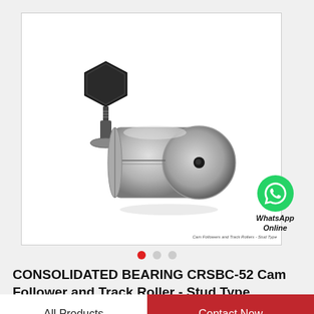[Figure (photo): CONSOLIDATED BEARING CRSBC-52 Cam Follower and Track Roller - Stud Type bearing component photo. Shows a stud-type cam follower with a hex nut on one end and a cylindrical roller on the other, made of steel. White background with a thin border.]
Cam Followers and Track Rollers - Stud Type
WhatsApp Online
CONSOLIDATED BEARING CRSBC-52 Cam Follower and Track Roller - Stud Type
All Products
Contact Now